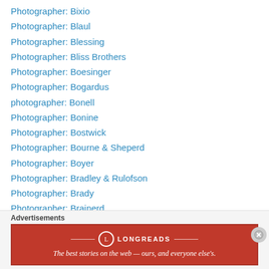Photographer: Bixio
Photographer: Blaul
Photographer: Blessing
Photographer: Bliss Brothers
Photographer: Boesinger
Photographer: Bogardus
photographer: Bonell
Photographer: Bonine
Photographer: Bostwick
Photographer: Bourne & Sheperd
Photographer: Boyer
Photographer: Bradley & Rulofson
Photographer: Brady
Photographer: Brainerd
Photographer: Brand
Photographer: Brandseph
[Figure (other): Longreads advertisement banner: red background with Longreads logo and tagline 'The best stories on the web — ours, and everyone else's.']